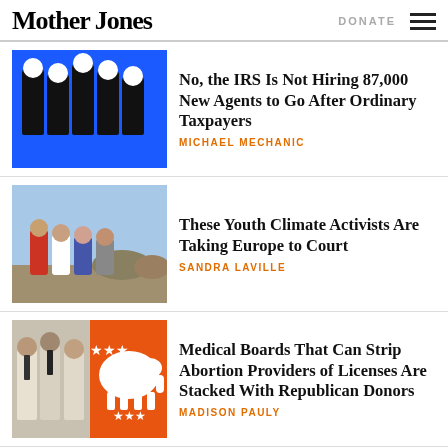Mother Jones | DONATE
No, the IRS Is Not Hiring 87,000 New Agents to Go After Ordinary Taxpayers
MICHAEL MECHANIC
These Youth Climate Activists Are Taking Europe to Court
SANDRA LAVILLE
Medical Boards That Can Strip Abortion Providers of Licenses Are Stacked With Republican Donors
MADISON PAULY